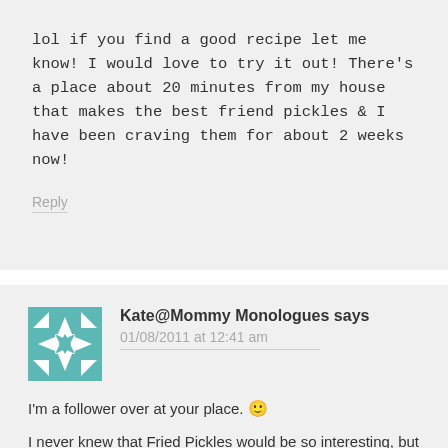lol if you find a good recipe let me know! I would love to try it out! There's a place about 20 minutes from my house that makes the best friend pickles & I have been craving them for about 2 weeks now!
Reply
Kate@Mommy Monologues says
01/08/2011 at 12:41 am
I'm a follower over at your place. 🙂
I never knew that Fried Pickles would be so interesting, but so many people commented